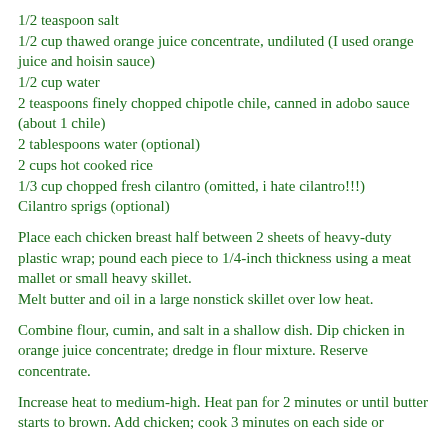1/2 teaspoon salt
1/2 cup thawed orange juice concentrate, undiluted (I used orange juice and hoisin sauce)
1/2 cup water
2 teaspoons finely chopped chipotle chile, canned in adobo sauce (about 1 chile)
2 tablespoons water (optional)
2 cups hot cooked rice
1/3 cup chopped fresh cilantro (omitted, i hate cilantro!!!)
Cilantro sprigs (optional)
Place each chicken breast half between 2 sheets of heavy-duty plastic wrap; pound each piece to 1/4-inch thickness using a meat mallet or small heavy skillet.
Melt butter and oil in a large nonstick skillet over low heat.
Combine flour, cumin, and salt in a shallow dish. Dip chicken in orange juice concentrate; dredge in flour mixture. Reserve concentrate.
Increase heat to medium-high. Heat pan for 2 minutes or until butter starts to brown. Add chicken; cook 3 minutes on each side or